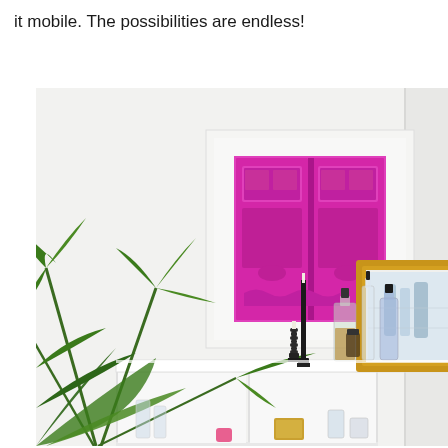it mobile. The possibilities are endless!
[Figure (photo): Interior design photo showing a white shelf/sideboard with a large framed print of a bright magenta/pink door, a smaller gold bamboo-framed artwork, palm plant on the left, black candlestick holders, glass bottles, and decorative accessories. White walls and white door with gold hardware visible on the right.]